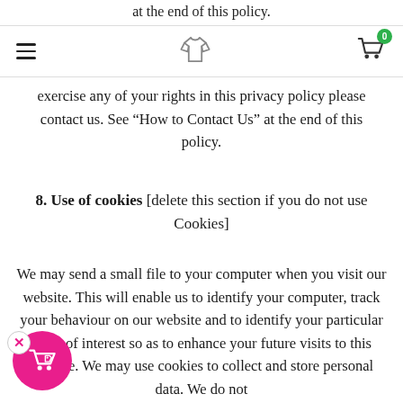at the end of this policy.
navigation header with hamburger menu, shirt icon, and cart (0)
exercise any of your rights in this privacy policy please contact us. See “How to Contact Us” at the end of this policy.
8. Use of cookies [delete this section if you do not use Cookies]
We may send a small file to your computer when you visit our website. This will enable us to identify your computer, track your behaviour on our website and to identify your particular areas of interest so as to enhance your future visits to this website. We may use cookies to collect and store personal data. We do not